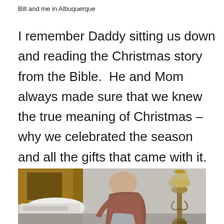Bill and me in Albuquerque
I remember Daddy sitting us down and reading the Christmas story from the Bible.  He and Mom always made sure that we knew the true meaning of Christmas – why we celebrated the season and all the gifts that came with it.  And why we gave gifts to each other and to those who didn=t have all we had.
[Figure (photo): An elderly bald man leaning forward in a room, with wrapped gifts or bags nearby on the left and a decorative lamp stand on the right.]